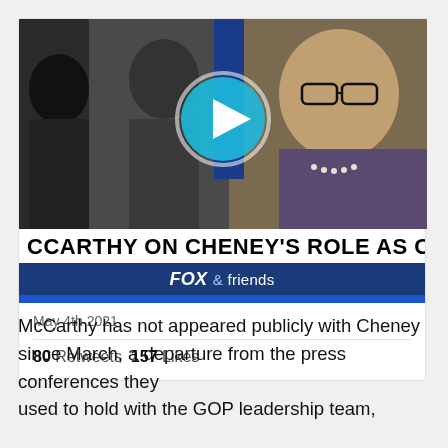[Figure (screenshot): Embedded video thumbnail showing a Fox & Friends broadcast. The lower third reads 'CCARTHY ON CHENEY'S ROLE AS CONFEREN' in bold black text on white background, with a 'FOX & friends' logo bar in dark blue below. A teal play button circle overlay is centered on the video image.]
May 4th 2021
80 Retweets  157 Likes
McCarthy has not appeared publicly with Cheney since March, a departure from the press conferences they used to hold with the GOP leadership team, source s